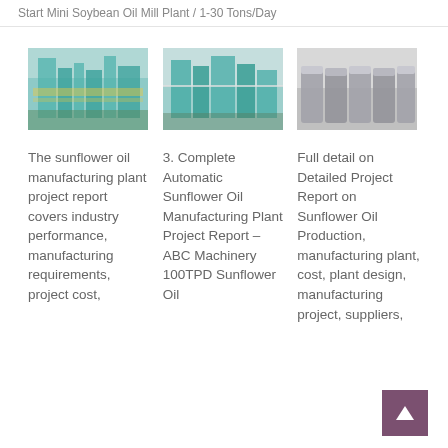Start Mini Soybean Oil Mill Plant / 1-30 Tons/Day
[Figure (photo): Industrial sunflower/soybean oil mill plant facility with green-colored conveyor structures]
[Figure (photo): Industrial oil processing plant building with teal/green structures and equipment]
[Figure (photo): Row of grey oil mill processing machines inside a factory]
The sunflower oil manufacturing plant project report covers industry performance, manufacturing requirements, project cost,
3. Complete Automatic Sunflower Oil Manufacturing Plant Project Report – ABC Machinery 100TPD Sunflower Oil
Full detail on Detailed Project Report on Sunflower Oil Production, manufacturing plant, cost, plant design, manufacturing project, suppliers,